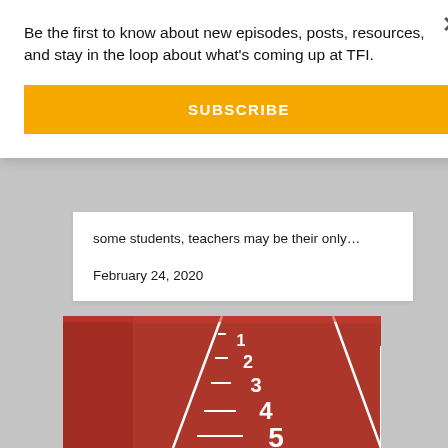Be the first to know about new episodes, posts, resources, and stay in the loop about what's coming up at TFI.
SUBSCRIBE
some students, teachers may be their only…
February 24, 2020
[Figure (photo): A red running track with white lane markings and lane numbers 1 through 5 painted in white, viewed from a low angle perspective.]